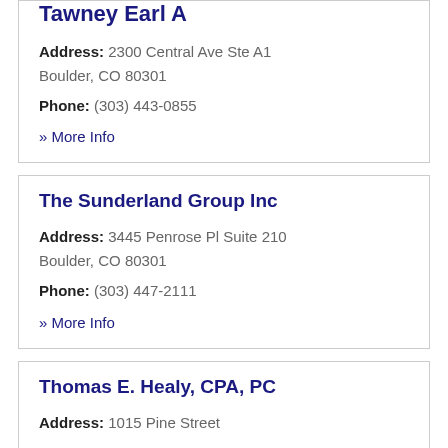Tawney Earl A
Address: 2300 Central Ave Ste A1 Boulder, CO 80301
Phone: (303) 443-0855
» More Info
The Sunderland Group Inc
Address: 3445 Penrose Pl Suite 210 Boulder, CO 80301
Phone: (303) 447-2111
» More Info
Thomas E. Healy, CPA, PC
Address: 1015 Pine Street